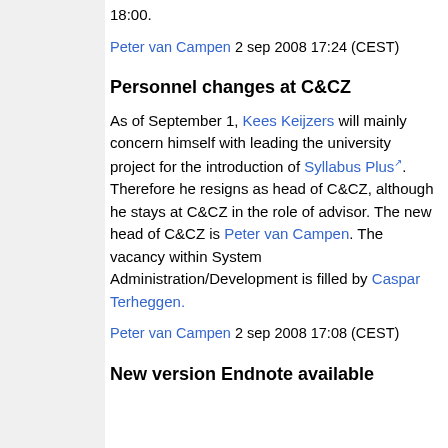18:00.
Peter van Campen 2 sep 2008 17:24 (CEST)
Personnel changes at C&CZ
As of September 1, Kees Keijzers will mainly concern himself with leading the university project for the introduction of Syllabus Plus. Therefore he resigns as head of C&CZ, although he stays at C&CZ in the role of advisor. The new head of C&CZ is Peter van Campen. The vacancy within System Administration/Development is filled by Caspar Terheggen.
Peter van Campen 2 sep 2008 17:08 (CEST)
New version Endnote available